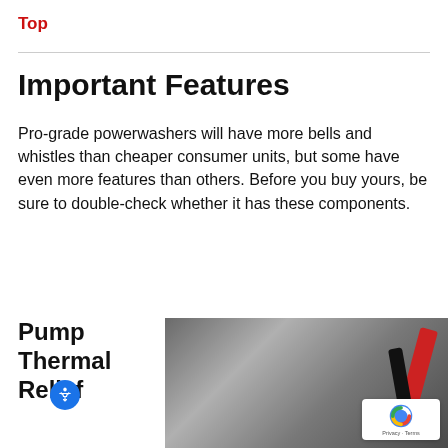Top
Important Features
Pro-grade powerwashers will have more bells and whistles than cheaper consumer units, but some have even more features than others. Before you buy yours, be sure to double-check whether it has these components.
Pump Thermal Relief
[Figure (photo): Photo of powerwasher components with red and black cables visible, dark/grey toned image]